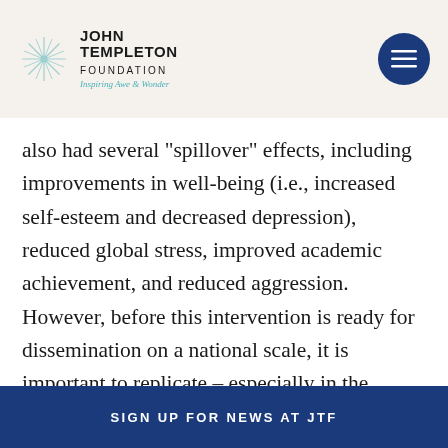John Templeton Foundation — Inspiring Awe & Wonder
also had several "spillover" effects, including improvements in well-being (i.e., increased self-esteem and decreased depression), reduced global stress, improved academic achievement, and reduced aggression. However, before this intervention is ready for dissemination on a national scale, it is important to replicate – especially in the current scientific climate. Therefore, the PI has obtained an R01 from the NICHD to conduct a replication in 4 high schools.
SIGN UP FOR NEWS AT JTF